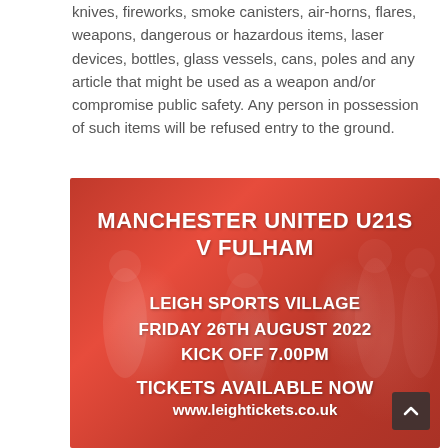knives, fireworks, smoke canisters, air-horns, flares, weapons, dangerous or hazardous items, laser devices, bottles, glass vessels, cans, poles and any article that might be used as a weapon and/or compromise public safety.  Any person in possession of such items will be refused entry to the ground.
[Figure (photo): Promotional image for Manchester United U21s v Fulham football match at Leigh Sports Village on Friday 26th August 2022, kick off 7.00pm, with tickets available at www.leightickets.co.uk. Red-tinted background with football players in action.]